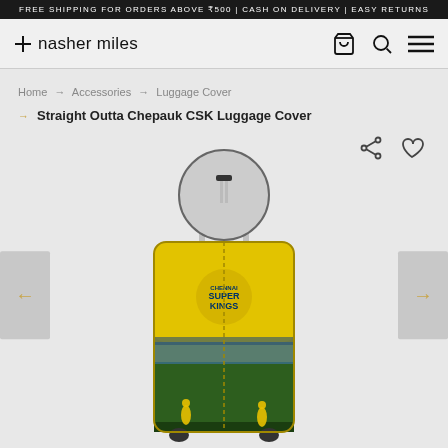FREE SHIPPING FOR ORDERS ABOVE ₹500 | CASH ON DELIVERY | EASY RETURNS
[Figure (logo): Nasher Miles logo with plus icon and brand name]
Home → Accessories → Luggage Cover → Straight Outta Chepauk CSK Luggage Cover
[Figure (photo): CSK luggage cover in yellow/green with Super Kings branding, shown on a trolley suitcase with circular zoom inset at top]